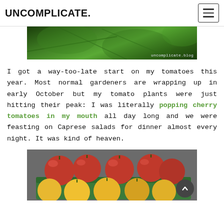UNCOMPLICATE.
[Figure (photo): Close-up photo of green tomato plant leaves with uncomplicate.blog watermark]
I got a way-too-late start on my tomatoes this year. Most normal gardeners are wrapping up in early October but my tomato plants were just hitting their peak: I was literally popping cherry tomatoes in my mouth all day long and we were feasting on Caprese salads for dinner almost every night. It was kind of heaven.
[Figure (photo): Photo of red and yellow cherry tomatoes in a green container tray]